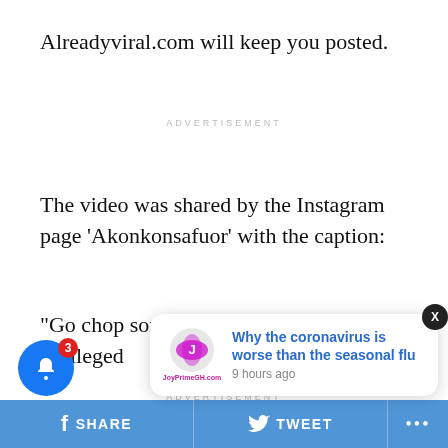Alreadyviral.com will keep you posted.
ADVERTISEMENT
The video was shared by the Instagram page ‘Akonkonsafuor’ with the caption:
“Go chop someone’s woman, Abraham.” It is alleged
ADVERTISEMENT
Watch the vide
[Figure (screenshot): Notification popup from JoyPrimeGH.com with headline 'Why the coronavirus is worse than the seasonal flu', posted 9 hours ago]
SHARE   TWEET   ...